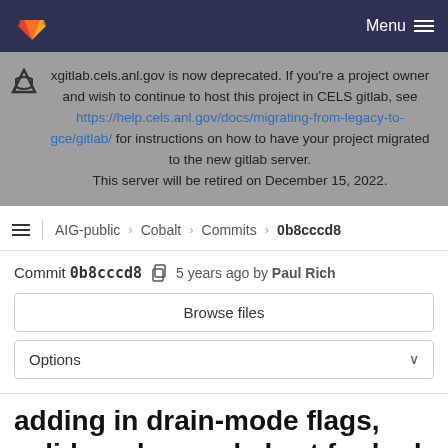GitLab navigation bar with Menu
xgitlab.cels.anl.gov is now deprecated. If you're a project owner and wish to continue to host this project in CELS gitlab, see https://help.cels.anl.gov/docs/migrating-from-legacy-to-gce/gitlab/ for instructions on how to have your project migrated to the new gitlab server. This server will be retired on December 15, 2022.
AIG-public > Cobalt > Commits > 0b8cccd8
Commit 0b8cccd8  5 years ago by Paul Rich
Browse files
Options
adding in drain-mode flags, valid modes, and abort for bad config